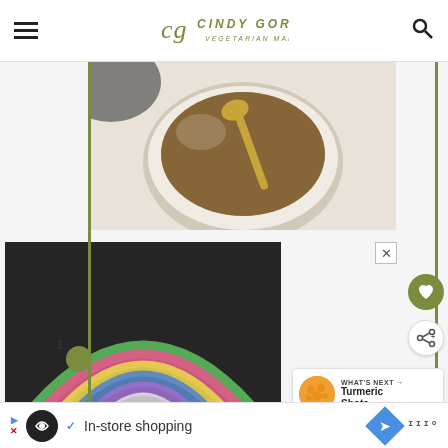cg CINDY GORDON VEGETARIAN MAMMA
[Figure (photo): Overhead view of a white ceramic bowl containing ground flaxseed or similar brown powder, with a gold spoon. A dark cloth is visible in the upper left corner. White background.]
[Figure (photo): Overhead view of a colorful chalk rainbow drawn on dark asphalt pavement. Multiple arcs in green, pink, yellow, blue, purple, and white. Several pieces of chalk are scattered at the bottom of the rainbow.]
WHAT'S NEXT → Turmeric Shots
1
In-store shopping